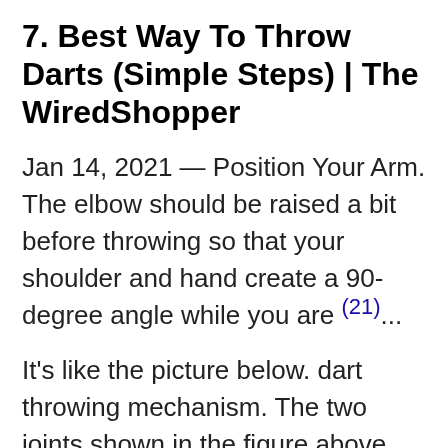7. Best Way To Throw Darts (Simple Steps) | The WiredShopper
Jan 14, 2021 — Position Your Arm. The elbow should be raised a bit before throwing so that your shoulder and hand create a 90-degree angle while you are (21)...
It's like the picture below. dart throwing mechanism. The two joints shown in the figure above are the elbow and wrist, and the fixed joint is the shoulder Nov 29, 2019 · Uploaded by Everything